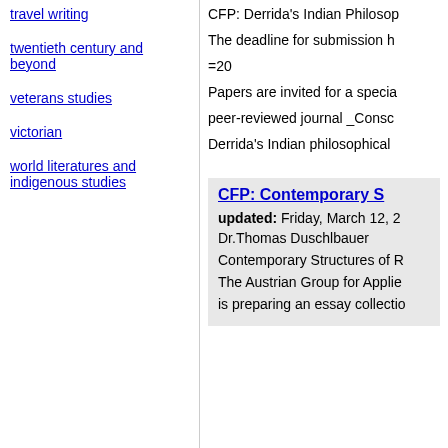travel writing
twentieth century and beyond
veterans studies
victorian
world literatures and indigenous studies
CFP: Derrida's Indian Philosop...
The deadline for submission h...
=20
Papers are invited for a specia... peer-reviewed journal _Consc... Derrida's Indian philosophical...
CFP: Contemporary S...
updated: Friday, March 12, 2...
Dr.Thomas Duschlbauer
Contemporary Structures of R...
The Austrian Group for Applie... is preparing an essay collectio...